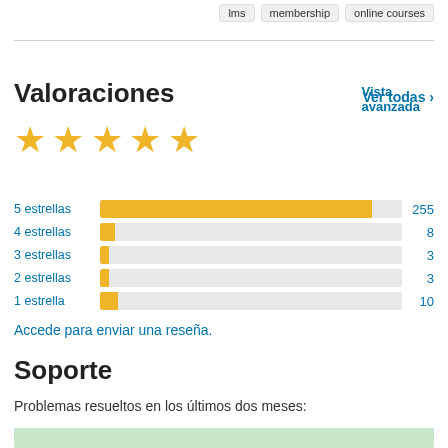lms   membership   online courses
Vista avanzada
Valoraciones
Ver todas >
[Figure (bar-chart): Valoraciones por estrellas]
Accede para enviar una reseña.
Soporte
Problemas resueltos en los últimos dos meses: